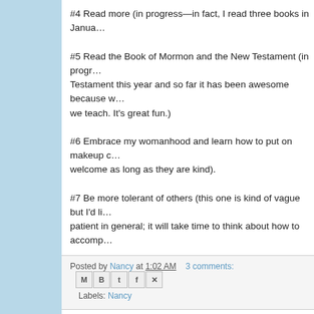#4 Read more (in progress—in fact, I read three books in Janua…
#5 Read the Book of Mormon and the New Testament (in progr… Testament this year and so far it has been awesome because w… we teach. It's great fun.)
#6 Embrace my womanhood and learn how to put on makeup c… welcome as long as they are kind).
#7 Be more tolerant of others (this one is kind of vague but I'd li… patient in general; it will take time to think about how to accomp…
Posted by Nancy at 1:02 AM   3 comments:
Labels: Nancy
Newer Posts   Home   View mobile version
Subscribe to: Posts (Atom)